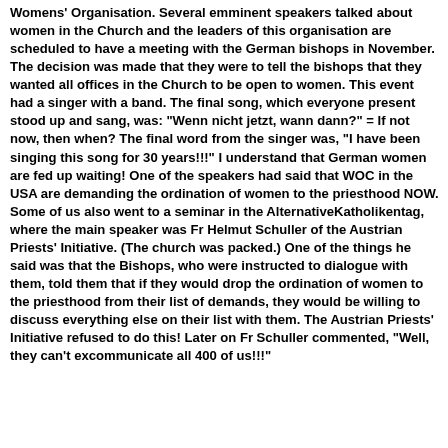Womens' Organisation. Several emminent speakers talked about women in the Church and the leaders of this organisation are scheduled to have a meeting with the German bishops in November. The decision was made that they were to tell the bishops that they wanted all offices in the Church to be open to women. This event had a singer with a band. The final song, which everyone present stood up and sang, was: "Wenn nicht jetzt, wann dann?" = If not now, then when? The final word from the singer was, "I have been singing this song for 30 years!!!" I understand that German women are fed up waiting! One of the speakers had said that WOC in the USA are demanding the ordination of women to the priesthood NOW. Some of us also went to a seminar in the AlternativeKatholikentag, where the main speaker was Fr Helmut Schuller of the Austrian Priests' Initiative. (The church was packed.) One of the things he said was that the Bishops, who were instructed to dialogue with them, told them that if they would drop the ordination of women to the priesthood from their list of demands, they would be willing to discuss everything else on their list with them. The Austrian Priests' Initiative refused to do this! Later on Fr Schuller commented, "Well, they can't excommunicate all 400 of us!!!"